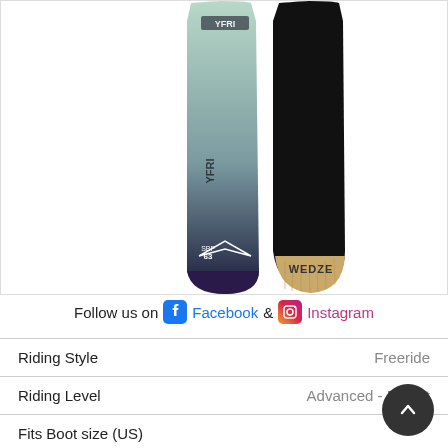[Figure (photo): Two snowboards side by side showing top and bottom views. Left board has mint green to dark navy gradient with brand logo. Right board shows black base with 'WEDZE' text and wood core visible at tip.]
Follow us on Facebook & Instagram
| Riding Style | Freeride |
| Riding Level | Advanced - Expert |
| Fits Boot size (US) |  |
| Manufactured in |  |